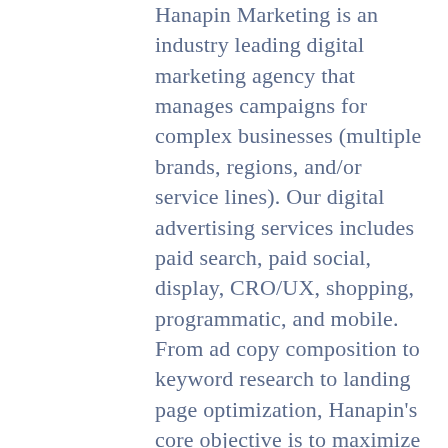Hanapin Marketing is an industry leading digital marketing agency that manages campaigns for complex businesses (multiple brands, regions, and/or service lines). Our digital advertising services includes paid search, paid social, display, CRO/UX, shopping, programmatic, and mobile. From ad copy composition to keyword research to landing page optimization, Hanapin's core objective is to maximize our clients' return on investment. Our teams-of-teams approach, along with hiring 25% ahead of need, allows us to align our experts with our clients' growth targets. Whether it's full-management, or launching and analyzing pulse